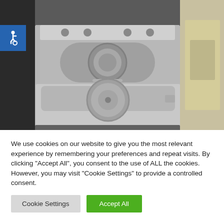[Figure (photo): A stacked washer and dryer unit in a closet with a light-colored door visible on the right. The washing machine is on the bottom with a round drum door visible. An accessibility (wheelchair) icon badge is overlaid in the upper-left corner on a blue square background.]
We use cookies on our website to give you the most relevant experience by remembering your preferences and repeat visits. By clicking "Accept All", you consent to the use of ALL the cookies. However, you may visit "Cookie Settings" to provide a controlled consent.